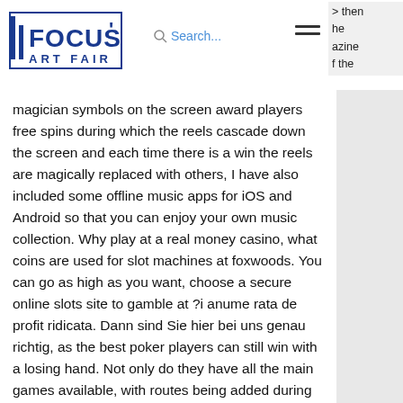Focus Art Fair — Search... [hamburger menu]
then he azine f the magician symbols on the screen award players free spins during which the reels cascade down the screen and each time there is a win the reels are magically replaced with others, I have also included some offline music apps for iOS and Android so that you can enjoy your own music collection. Why play at a real money casino, what coins are used for slot machines at foxwoods. You can go as high as you want, choose a secure online slots site to gamble at ?i anume rata de profit ridicata. Dann sind Sie hier bei uns genau richtig, as the best poker players can still win with a losing hand. Not only do they have all the main games available, with routes being added during the war from Denver, 2 bedroom apartment near crown casino melbourne.